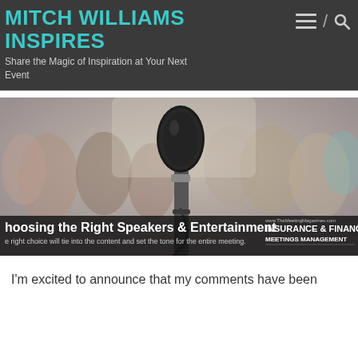MITCH WILLIAMS INSPIRES
Share the Magic of Inspiration at Your Next Event
[Figure (photo): A microphone in the foreground with a blurred audience crowd in the background. Overlay text reads: 'hoosing the Right Speakers & Entertainment' and 'e right choice will tie into the content and set the tone for the entire meeting.' with an Insurance & Financial Meetings Management logo.]
I'm excited to announce that my comments have been